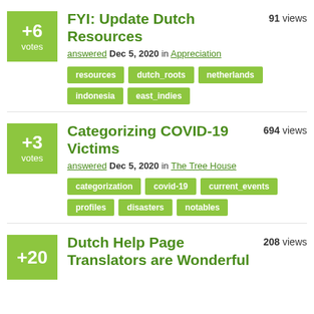+6 votes | FYI: Update Dutch Resources | 91 views | answered Dec 5, 2020 in Appreciation | tags: resources, dutch_roots, netherlands, indonesia, east_indies
+3 votes | Categorizing COVID-19 Victims | 694 views | answered Dec 5, 2020 in The Tree House | tags: categorization, covid-19, current_events, profiles, disasters, notables
+20 votes | Dutch Help Page Translators are Wonderful | 208 views